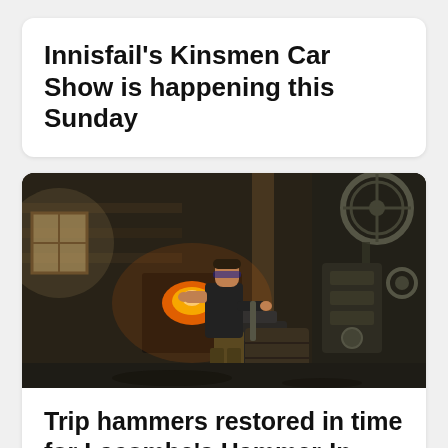Innisfail's Kinsmen Car Show is happening this Sunday
[Figure (photo): A blacksmith working at an anvil in a rustic workshop. He wears a black t-shirt and safety glasses, working metal with glowing embers visible in a forge. Heavy machinery and equipment fill the dark wooden workshop behind him.]
Trip hammers restored in time for Lacombe's Hammer-In Festival